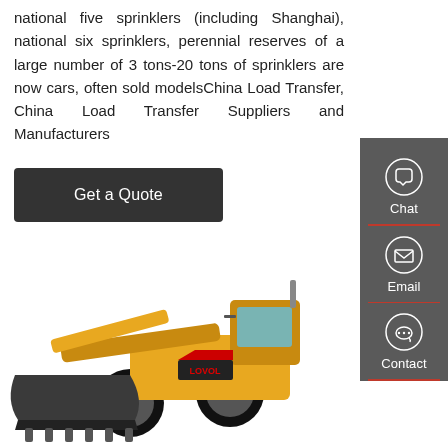national five sprinklers (including Shanghai), national six sprinklers, perennial reserves of a large number of 3 tons-20 tons of sprinklers are now cars, often sold modelsChina Load Transfer, China Load Transfer Suppliers and Manufacturers
Get a Quote
[Figure (screenshot): Sidebar with Chat, Email, Contact icons on dark grey background with red dividers]
[Figure (photo): Yellow LOVOL front loader / wheel loader construction machine with large bucket, on white background]